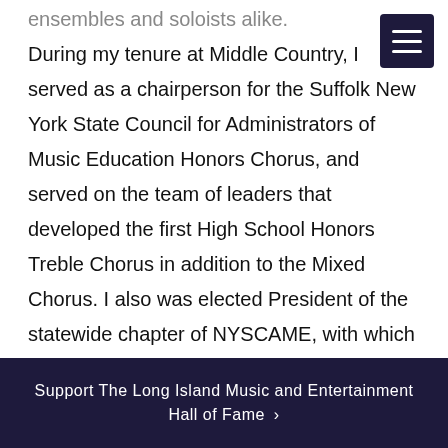ensembles and soloists alike. During my tenure at Middle Country, I served as a chairperson for the Suffolk New York State Council for Administrators of Music Education Honors Chorus, and served on the team of leaders that developed the first High School Honors Treble Chorus in addition to the Mixed Chorus. I also was elected President of the statewide chapter of NYSCAME, with which I initiated an internet presence in the form of an association website. I also served NYSSMA as an assistant to the Zone 14 Suffolk County representative, as a member of the statewide Curriculum Committee, and as an All-
Support The Long Island Music and Entertainment Hall of Fame ›